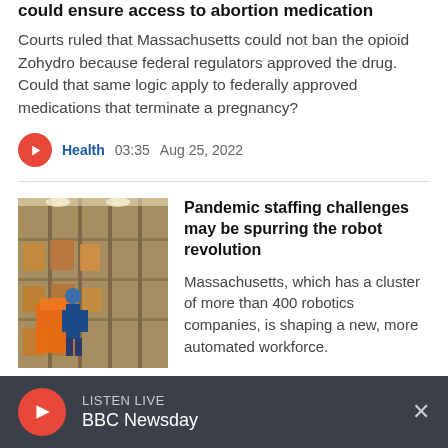could ensure access to abortion medication
Courts ruled that Massachusetts could not ban the opioid Zohydro because federal regulators approved the drug. Could that same logic apply to federally approved medications that terminate a pregnancy?
Health  03:35  Aug 25, 2022
Pandemic staffing challenges may be spurring the robot revolution
Massachusetts, which has a cluster of more than 400 robotics companies, is shaping a new, more automated workforce.
Business  04:54  Aug 25, 2022
LISTEN LIVE  BBC Newsday